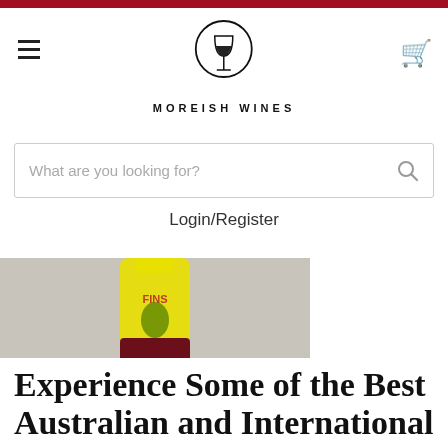Moreish Wines
[Figure (logo): Moreish Wines logo: wine glass in circle with stem, brand name below]
What are you looking for?
Login/Register
[Figure (photo): Wine bottle with yellow label (FINS) and dark red wine visible, on grey background, with red Sale badge]
FINCA PARERA - FINS ALS KULLONS 2019 (1 LITRE)
$40.00
$36.00
Experience Some of the Best Australian and International